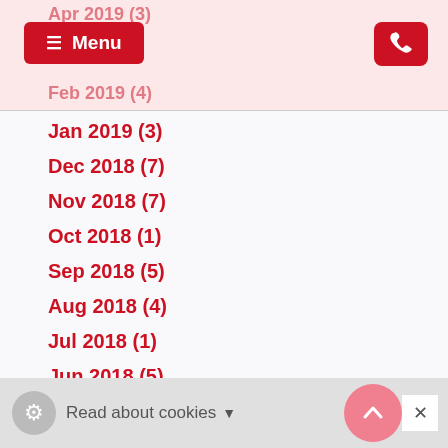Apr 2019 (3)
Menu
Feb 2019 (4)
Jan 2019 (3)
Dec 2018 (7)
Nov 2018 (7)
Oct 2018 (1)
Sep 2018 (5)
Aug 2018 (4)
Jul 2018 (1)
Jun 2018 (5)
May 2018 (8)
Apr 2018 (7)
Mar 2018 (18)
Feb 2018 (7)
Jan 2018 (1)
Read about cookies